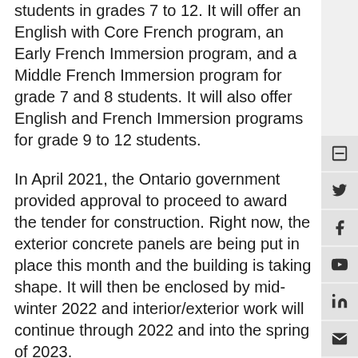students in grades 7 to 12. It will offer an English with Core French program, an Early French Immersion program, and a Middle French Immersion program for grade 7 and 8 students. It will also offer English and French Immersion programs for grade 9 to 12 students.
In April 2021, the Ontario government provided approval to proceed to award the tender for construction. Right now, the exterior concrete panels are being put in place this month and the building is taking shape. It will then be enclosed by mid-winter 2022 and interior/exterior work will continue through 2022 and into the spring of 2023.
Stittsville (including the Fernbank area) is currently the fastest growing development area in the City of Ottawa. Over the past three years, building permits have been issued for an average of approximately 1,500 new residential units per year for this part of the District. The OCDSB acquired the land for the new